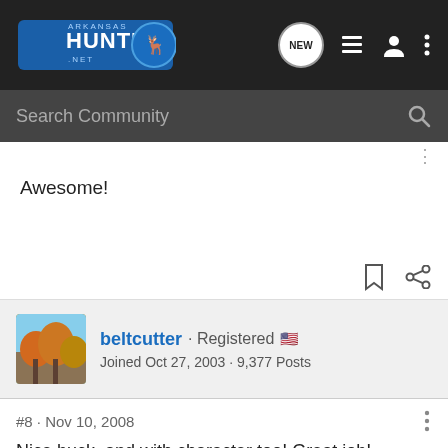[Figure (logo): Arkansas Hunting .net logo with deer/animal graphic]
Search Community
Awesome!
beltcutter · Registered 🇺🇸
Joined Oct 27, 2003 · 9,377 Posts
#8 · Nov 10, 2008
Nice buck, and with character too! Great job!